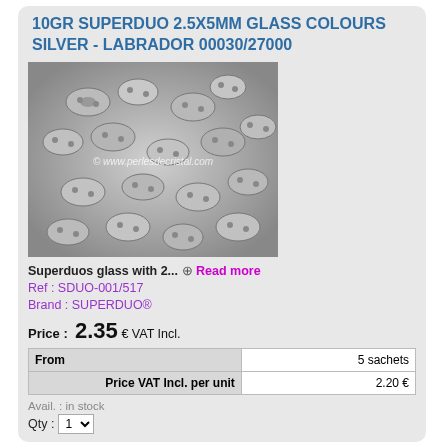10GR SUPERDUO 2.5X5MM GLASS COLOURS SILVER - LABRADOR 00030/27000
[Figure (photo): Close-up photo of silver metallic SuperDuo glass beads with two holes, labrador finish, densely packed together showing shiny reflective surface. Watermark: © www.perlesdecristal.com]
Superduos glass with 2... ⊕ Read more
Ref : SDUO-001/517
Brand : SUPERDUO®
Price : 2.35 € VAT Incl.
| From | 5 sachets |
| --- | --- |
| Price VAT Incl. per unit | 2.20 € |
Avail. : in stock
Qty : 1